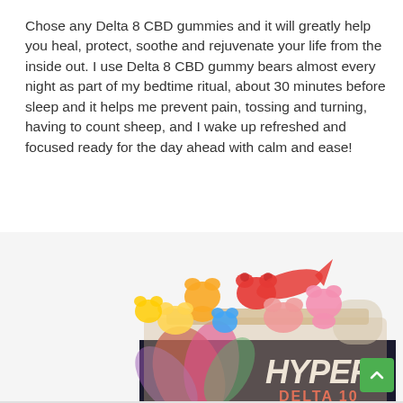Chose any Delta 8 CBD gummies and it will greatly help you heal, protect, soothe and rejuvenate your life from the inside out. I use Delta 8 CBD gummy bears almost every night as part of my bedtime ritual, about 30 minutes before sleep and it helps me prevent pain, tossing and turning, having to count sheep, and I wake up refreshed and focused ready for the day ahead with calm and ease!
[Figure (photo): Photo of a jar of Hyper Delta 10 CBD gummies with colorful bear-shaped gummies (red, yellow, pink, blue) overflowing from the top of an open bottle, with the product label visible showing 'HYPER DELTA 10' branding with colorful leaf/flower design on a dark background.]